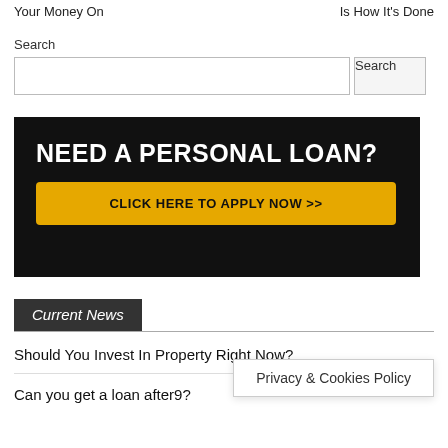Your Money On ... Is How It's Done
Search
[Figure (other): Search input box with Search button]
[Figure (infographic): Black banner ad: NEED A PERSONAL LOAN? with yellow CLICK HERE TO APPLY NOW >> button]
Current News
Should You Invest In Property Right Now?
Can you get a loan after...9?
Privacy & Cookies Policy